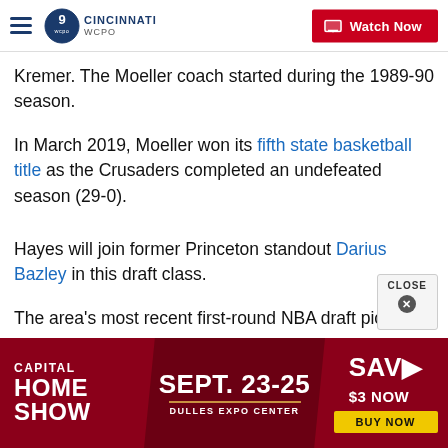WCPO 9 CINCINNATI — Watch Now
Kremer. The Moeller coach started during the 1989-90 season.
In March 2019, Moeller won its fifth state basketball title as the Crusaders completed an undefeated season (29-0).
Hayes will join former Princeton standout Darius Bazley in this draft class.
The area's most recent first-round NBA draft pick
[Figure (screenshot): Capital Home Show advertisement banner: CAPITAL HOME SHOW | SEPT. 23-25 | DULLES EXPO CENTER | SAV $3 NOW | BUY NOW]